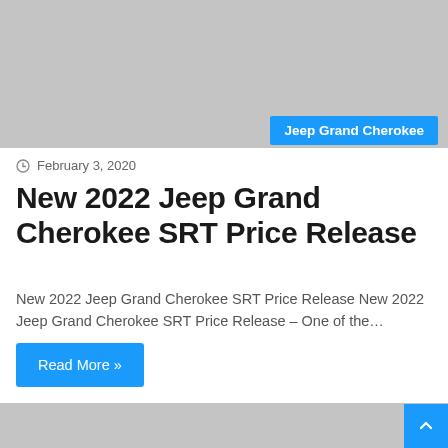[Figure (photo): Gray placeholder image at top of article card]
Jeep Grand Cherokee
February 3, 2020
New 2022 Jeep Grand Cherokee SRT Price Release
New 2022 Jeep Grand Cherokee SRT Price Release New 2022 Jeep Grand Cherokee SRT Price Release – One of the…
Read More »
[Figure (photo): Gray placeholder image at bottom of page (partial)]